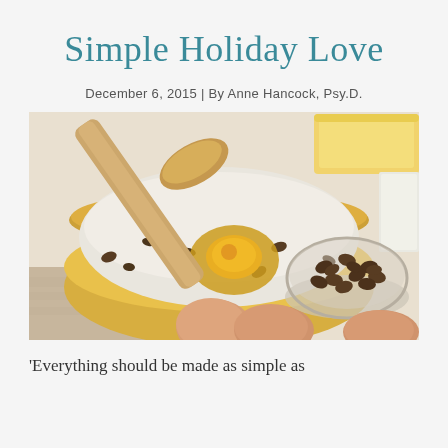Simple Holiday Love
December 6, 2015 | By Anne Hancock, Psy.D.
[Figure (photo): Baking scene: a yellow mixing bowl with flour, an egg being cracked, chocolate chips, and a wooden spoon. In the background are eggs, a stick of butter, and a glass bowl of chocolate chips.]
'Everything should be made as simple as